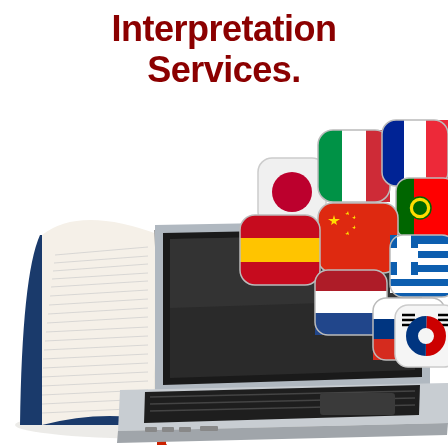Interpretation Services.
[Figure (illustration): A composite image showing an open dictionary/book on the left and a laptop computer on the right, with multiple country flag icons (Italy, France, Portugal, Japan, China, Spain, Netherlands, Greece, Russia, South Korea) floating above the laptop screen, representing interpretation and translation services in multiple languages.]